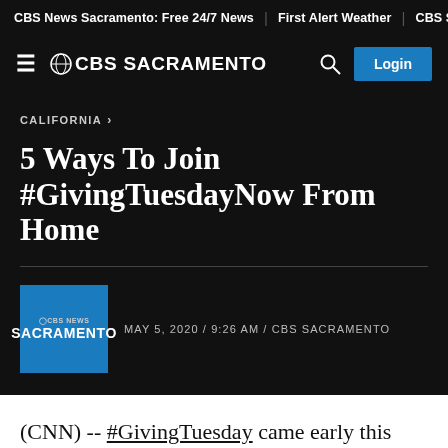CBS News Sacramento: Free 24/7 News  |  First Alert Weather  |  CBS Sac
☰ ⊙CBS SACRAMENTO  🔍  Login
CALIFORNIA ›
5 Ways To Join #GivingTuesdayNow From Home
MAY 5, 2020 / 9:26 AM / CBS SACRAMENTO
(CNN) -- #GivingTuesday came early this year, to be celebrated on May 5. The annual day of giving has grown into an emergency global response to the